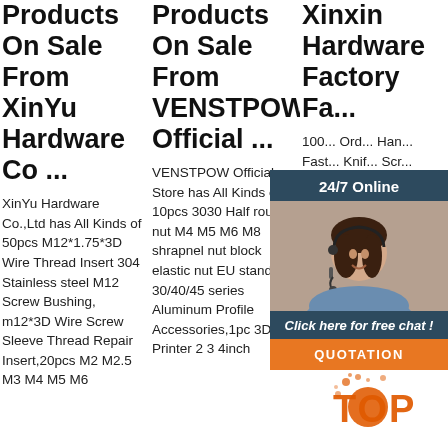Products On Sale From XinYu Hardware Co ...
XinYu Hardware Co.,Ltd has All Kinds of 50pcs M12*1.75*3D Wire Thread Insert 304 Stainless steel M12 Screw Bushing, m12*3D Wire Screw Sleeve Thread Repair Insert,20pcs M2 M2.5 M3 M4 M5 M6
Products On Sale From VENSTPOWSc Official ...
VENSTPOW Official Store has All Kinds of 10pcs 3030 Half round nut M4 M5 M6 M8 shrapnel nut block elastic nut EU standard 30/40/45 series Aluminum Profile Accessories,1pc 3D Printer 2 3 4inch
Xinxin Hardware Factory Fa...
100... Ord... Han... Fast... Knif... Scr... handle stud. $0.07 - $0.08 Piece, 1000 Pieces (Min Order) Factory Wholesale 8-32 Stainless Steel
[Figure (other): Customer service chat widget with '24/7 Online' header, photo of a woman with headset, 'Click here for free chat!' text, and QUOTATION button]
[Figure (other): TOP watermark graphic with orange dotted/splatter effect]